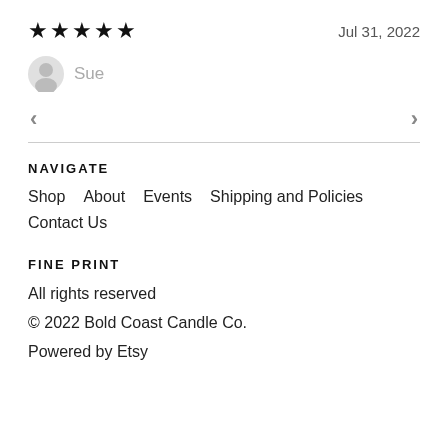★★★★★  Jul 31, 2022
Sue
< >
NAVIGATE
Shop   About   Events   Shipping and Policies   Contact Us
FINE PRINT
All rights reserved
© 2022 Bold Coast Candle Co.
Powered by Etsy